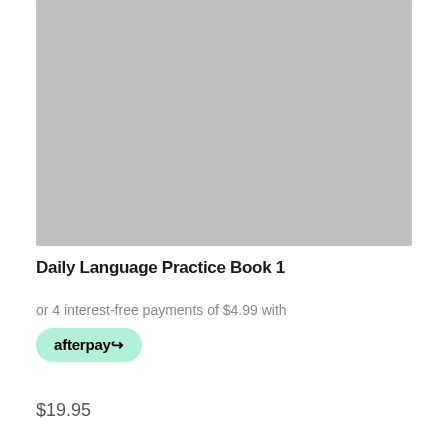[Figure (photo): Gray placeholder rectangle representing a book cover image]
Daily Language Practice Book 1
or 4 interest-free payments of $4.99 with
[Figure (logo): Afterpay logo on a mint green rounded badge]
$19.95